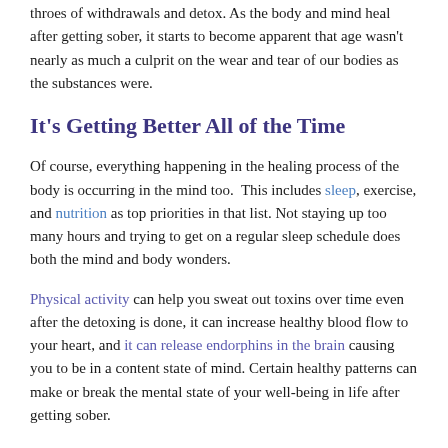throes of withdrawals and detox. As the body and mind heal after getting sober, it starts to become apparent that age wasn't nearly as much a culprit on the wear and tear of our bodies as the substances were.
It's Getting Better All of the Time
Of course, everything happening in the healing process of the body is occurring in the mind too.  This includes sleep, exercise, and nutrition as top priorities in that list. Not staying up too many hours and trying to get on a regular sleep schedule does both the mind and body wonders.
Physical activity can help you sweat out toxins over time even after the detoxing is done, it can increase healthy blood flow to your heart, and it can release endorphins in the brain causing you to be in a content state of mind. Certain healthy patterns can make or break the mental state of your well-being in life after getting sober.